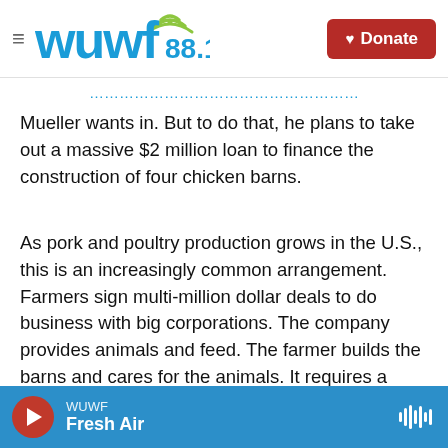WUWF 88.1 — Donate
Mueller wants in. But to do that, he plans to take out a massive $2 million loan to finance the construction of four chicken barns.
As pork and poultry production grows in the U.S., this is an increasingly common arrangement. Farmers sign multi-million dollar deals to do business with big corporations. The company provides animals and feed. The farmer builds the barns and cares for the animals. It requires a major investment from the farmers who enter into the agreement.
WUWF — Fresh Air